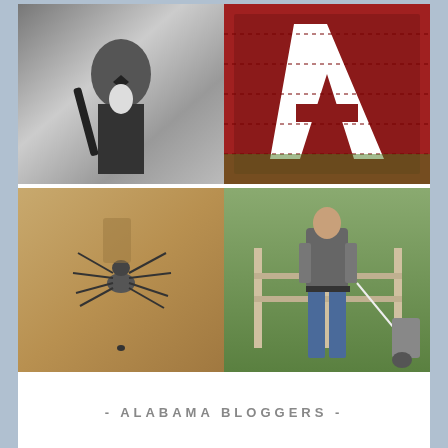[Figure (photo): Black and white photo of a man in a tuxedo playing clarinet]
[Figure (photo): Close-up of a red quilt with white letter 'A' applique on green grass background]
[Figure (photo): Close-up photo of a large spider on a sandy tan-colored wall or surface]
[Figure (photo): Person in jeans and gray shirt holding a leash near a wooden fence outdoors]
- ALABAMA BLOGGERS -
[Figure (logo): Partial view of the Alabama Bloggers logo — red and black toolbox/briefcase shape]